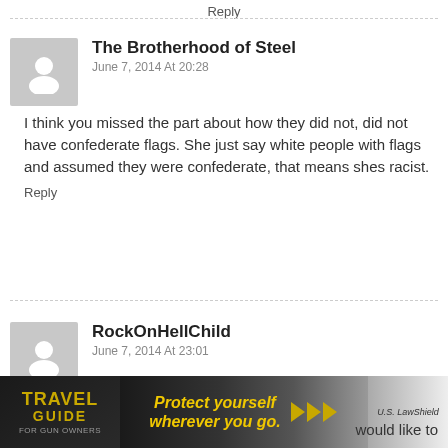Reply
The Brotherhood of Steel
June 7, 2014 At 20:28
I think you missed the part about how they did not, did not have confederate flags. She just say white people with flags and assumed they were confederate, that means shes racist.
Reply
RockOnHellChild
June 7, 2014 At 23:01
“Why should people NOT be concerned about a group of people who are clearly irrational and unable to properly use reason wanting to go about heavily armed at all times?”
[Figure (infographic): Travel Guide for Gun Owners advertisement banner with text 'Protect yourself wherever you go.' and US LawShield logo]
would like to